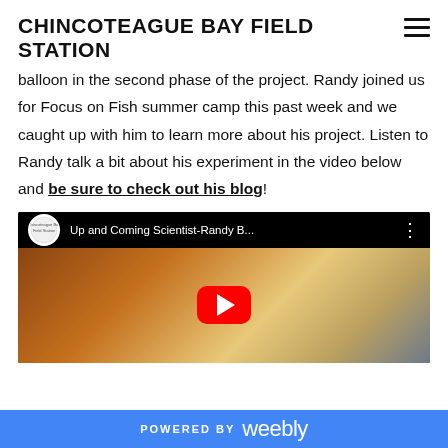CHINCOTEAGUE BAY FIELD STATION
balloon in the second phase of the project. Randy joined us for Focus on Fish summer camp this past week and we caught up with him to learn more about his project. Listen to Randy talk a bit about his experiment in the video below and be sure to check out his blog!
[Figure (screenshot): YouTube video embed showing a boy in a yellow shirt titled 'Up and Coming Scientist-Randy B...' with YouTube play button overlay]
POWERED BY weebly